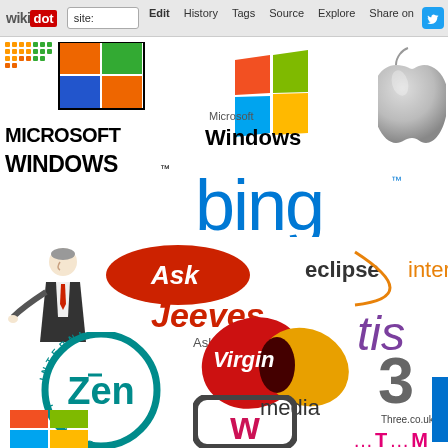[Figure (screenshot): Browser chrome bar with Wikidot logo, address bar showing 'site:', Edit, History, Tags, Source, Explore navigation items, and Twitter share button]
[Figure (infographic): Collage of technology and internet company logos including Microsoft Windows (old and new logos), Apple logo, Bing, Ask Jeeves (Ask.com), Eclipse Internet, Virgin Media, Zen Internet, Three (3 network), T-Mobile partial logo, and other partial logos on white background]